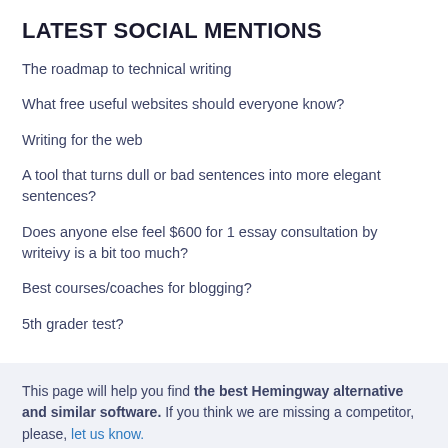LATEST SOCIAL MENTIONS
The roadmap to technical writing
What free useful websites should everyone know?
Writing for the web
A tool that turns dull or bad sentences into more elegant sentences?
Does anyone else feel $600 for 1 essay consultation by writeivy is a bit too much?
Best courses/coaches for blogging?
5th grader test?
This page will help you find the best Hemingway alternative and similar software. If you think we are missing a competitor, please, let us know.